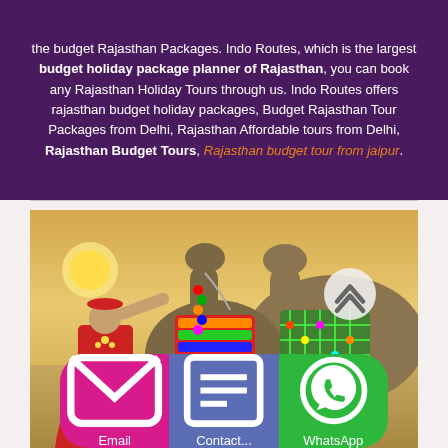the budget Rajasthan Packages. Indo Routes, which is the largest budget holiday package planner of Rajasthan, you can book any Rajasthan Holiday Tours through us. Indo Routes offers rajasthan budget holiday packages, Budget Rajasthan Tour Packages from Delhi, Rajasthan Affordable tours from Delhi, Rajasthan Budget Tours, Rajasthan budget tour from jaipur.
[Figure (photo): A woman in traditional Rajasthani red dress with jewelry interacting with decorated camels in a desert setting at sunset]